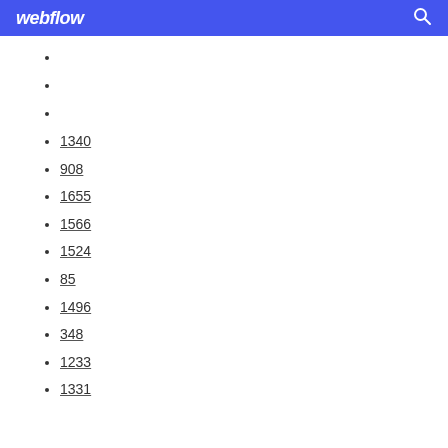webflow
1340
908
1655
1566
1524
85
1496
348
1233
1331